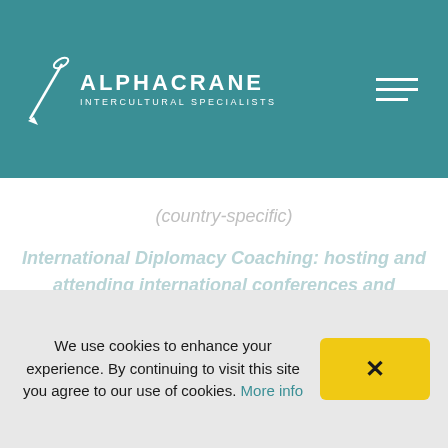[Figure (logo): Alphacrane Intercultural Specialists logo with stylized dart/needle icon and white text on teal background, with hamburger menu icon on the right]
(country-specific)
International Diplomacy Coaching: hosting and attending international conferences and delegations
We use cookies to enhance your experience. By continuing to visit this site you agree to our use of cookies. More info